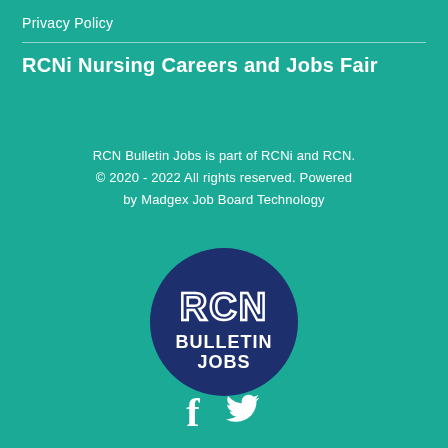Privacy Policy
RCNi Nursing Careers and Jobs Fair
RCN Bulletin Jobs is part of RCNi and RCN.
© 2020 - 2022 All rights reserved. Powered by Madgex Job Board Technology
[Figure (logo): RCN Bulletin Jobs circular logo — dark navy blue circle with white outlined text 'RCN' large on top, 'BULLETIN' in bold below, 'JOBS' in bold at bottom]
[Figure (illustration): Facebook and Twitter social media icons in white]